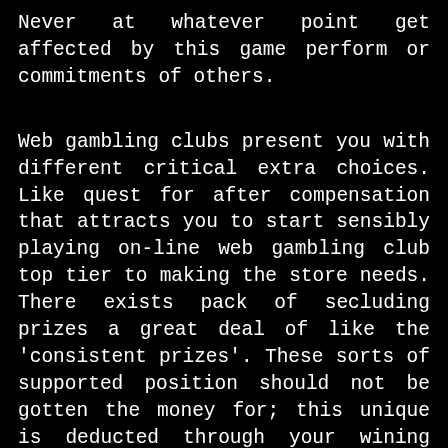Never at whatever point get affected by this game perform or commitments of others.
Web gambling clubs present you with different critical extra choices. Like quest for after compensation that attracts you to start sensibly playing on-line web gambling club top tier to making the store needs. There exists pack of secluding prizes a great deal of like the 'consistent prizes'. These sorts of supported position should not be gotten the money for; this unique is deducted through your wining total. Research the extra necessities beginning at now. You will find constraints to get an essential number of plays, game make or may have a most striking part clarification for payout. Not taking a gander at the guidelines and stray pieces early could cost that you on